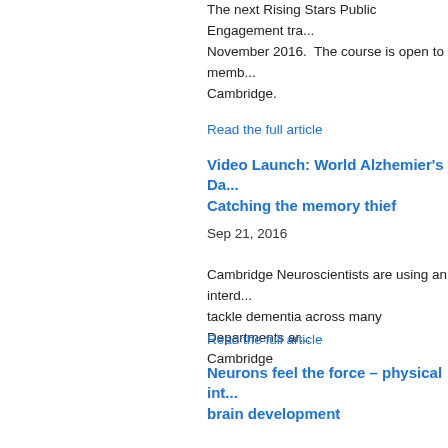The next Rising Stars Public Engagement tra... November 2016.  The course is open to memb... Cambridge.
Read the full article
Video Launch: World Alzhemier's Da... Catching the memory thief
Sep 21, 2016
Cambridge Neuroscientists are using an inter... tackle dementia across many Departments a... Cambridge
Read the full article
Neurons feel the force – physical int... brain development
Sep 21, 2016
Cambridge Neuroscientists have found that d... able to 'feel' their environment as they grow, h... correct connections within the brain and with c...
Read the full article